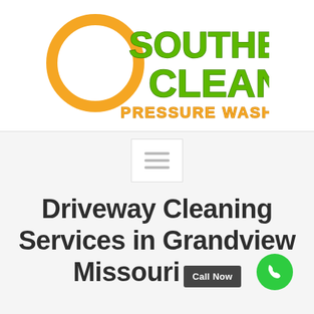[Figure (logo): Southern Clean Pressure Washing logo with orange circular swirl and green bold text]
[Figure (other): Hamburger menu icon in a white box]
Driveway Cleaning Services in Grandview Missouri